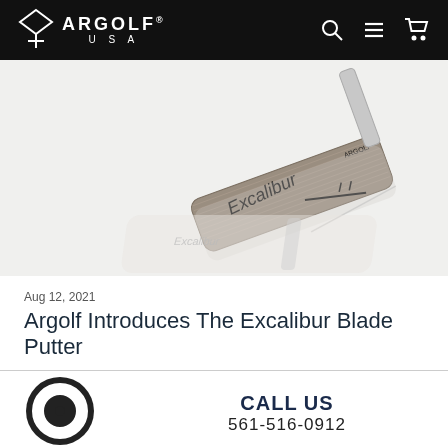ARGOLF USA
[Figure (photo): Excalibur blade putter golf club shown at an angle with its reflection below. The putter is metallic silver/bronze with 'Excalibur' text engraved on the head and an Argolf logo sword graphic. The reflection shows in lighter tones below the club head.]
Aug 12, 2021
Argolf Introduces The Excalibur Blade Putter
[Figure (logo): Circular ring/donut icon representing a headset or call icon, dark charcoal color]
CALL US
561-516-0912